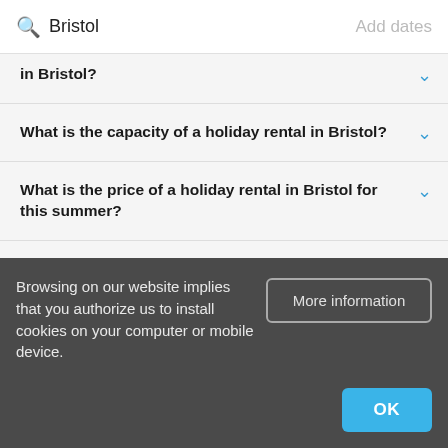Bristol   Add dates
in Bristol?
What is the capacity of a holiday rental in Bristol?
What is the price of a holiday rental in Bristol for this summer?
What budget should I plan for a weekend in a holiday rental in Bristol?
Browsing on our website implies that you authorize us to install cookies on your computer or mobile device.
More information
OK